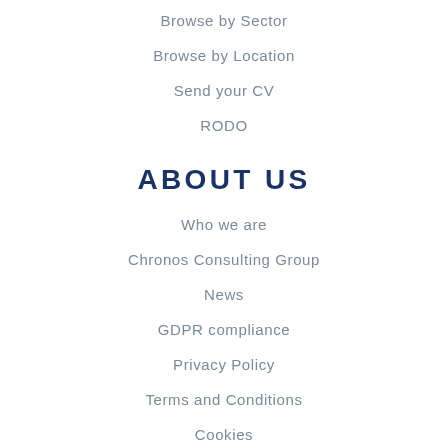Browse by Sector
Browse by Location
Send your CV
RODO
ABOUT US
Who we are
Chronos Consulting Group
News
GDPR compliance
Privacy Policy
Terms and Conditions
Cookies
CONTACT